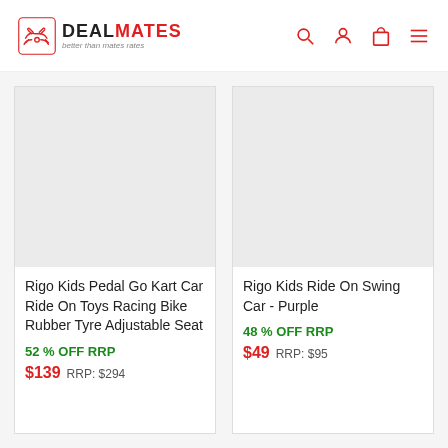DEAL MATES - better than mates rates
[Figure (photo): Product image placeholder for Rigo Kids Pedal Go Kart Car Ride On Toys Racing Bike Rubber Tyre Adjustable Seat]
Rigo Kids Pedal Go Kart Car Ride On Toys Racing Bike Rubber Tyre Adjustable Seat
52 % OFF RRP
$139  RRP: $294
[Figure (photo): Product image placeholder for Rigo Kids Ride On Swing Car - Purple]
Rigo Kids Ride On Swing Car - Purple
48 % OFF RRP
$49  RRP: $95